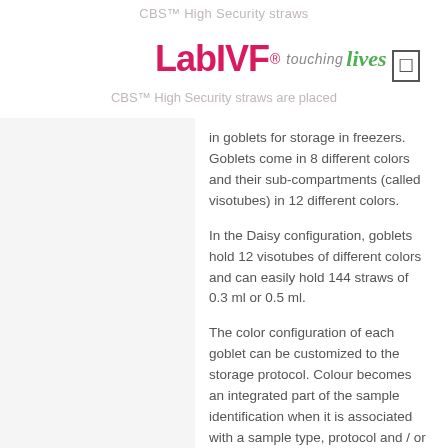CBS™ High Security straws
[Figure (logo): LabIVF® Touching Lives logo with hamburger menu icon]
CBS™ High Security straws are placed
in goblets for storage in freezers. Goblets come in 8 different colors and their sub-compartments (called visotubes) in 12 different colors.
In the Daisy configuration, goblets hold 12 visotubes of different colors and can easily hold 144 straws of 0.3 ml or 0.5 ml.
The color configuration of each goblet can be customized to the storage protocol. Colour becomes an integrated part of the sample identification when it is associated with a sample type, protocol and / or storage level. Material